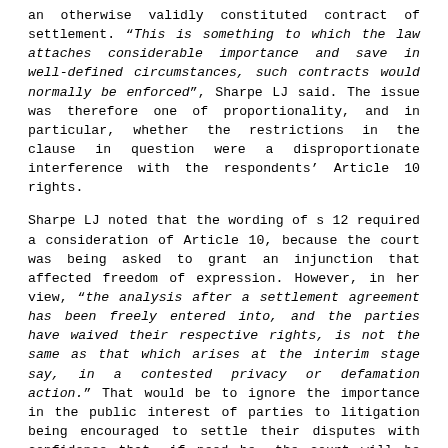an otherwise validly constituted contract of settlement. "This is something to which the law attaches considerable importance and save in well-defined circumstances, such contracts would normally be enforced", Sharpe LJ said. The issue was therefore one of proportionality, and in particular, whether the restrictions in the clause in question were a disproportionate interference with the respondents' Article 10 rights.

Sharpe LJ noted that the wording of s 12 required a consideration of Article 10, because the court was being asked to grant an injunction that affected freedom of expression. However, in her view, "the analysis after a settlement agreement has been freely entered into, and the parties have waived their respective rights, is not the same as that which arises at the interim stage say, in a contested privacy or defamation action." That would be to ignore the importance in the public interest of parties to litigation being encouraged to settle their disputes with confidence that, if need be, the court will be likely to enforce the terms of a settlement freely entered into on either side. In Sharpe LJ's judgment, there was nothing disproportionate on the facts, in holding the defendant to its bargain. The appeal was allowed. (Mr Sabby Mionis v Democratic Press SA [2017] EWCA Civ 1194 (31 July 2017) —